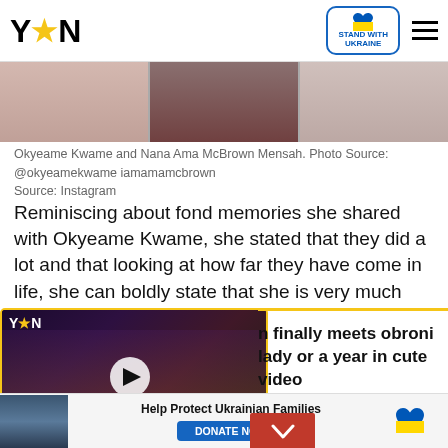YEN — STAND WITH UKRAINE
[Figure (photo): Photo strip showing Okyeame Kwame and Nana Ama McBrown Mensah, cropped composite of three images]
Okyeame Kwame and Nana Ama McBrown Mensah. Photo Source: @okyeamekwame iamamamcbrown
Source: Instagram
Reminiscing about fond memories she shared with Okyeame Kwame, she stated that they did a lot and that looking at how far they have come in life, she can boldly state that she is very much proud of him.
[Figure (screenshot): Video thumbnail overlay showing dancers at Kente Party 2019 with YEN logo, play button, and caption WILD DANCE MOVES AT KENTE PARTY 2019]
n finally meets obroni lady or a year in cute video
[Figure (photo): Advertisement bar: Help Protect Ukrainian Families with DONATE NOW button and Ukraine heart flag logo]